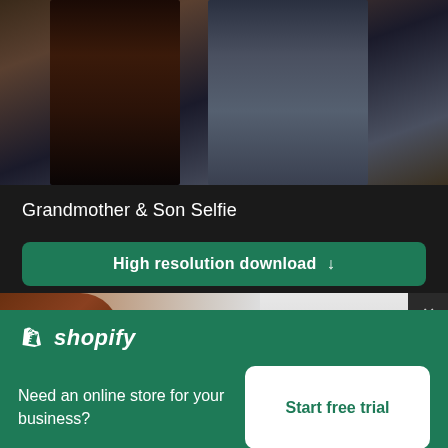[Figure (photo): Cropped photo showing two people torsos - one in black top and one in grey/blue t-shirt taking a selfie]
Grandmother & Son Selfie
High resolution download ↓
[Figure (photo): Cropped photo showing a dark-skinned arm on the left and a person in white clothing on the right against light background]
×
[Figure (logo): Shopify logo - shopping bag icon and 'shopify' text in white on green background]
Need an online store for your business?
Start free trial